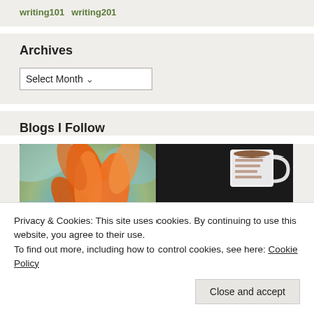writing101 writing201
Archives
Select Month
Blogs I Follow
[Figure (photo): Two blog preview images: left shows an orange flower with colorful abstract background, right shows a coffee mug and open notebook on a dark surface]
Privacy & Cookies: This site uses cookies. By continuing to use this website, you agree to their use.
To find out more, including how to control cookies, see here: Cookie Policy
Close and accept